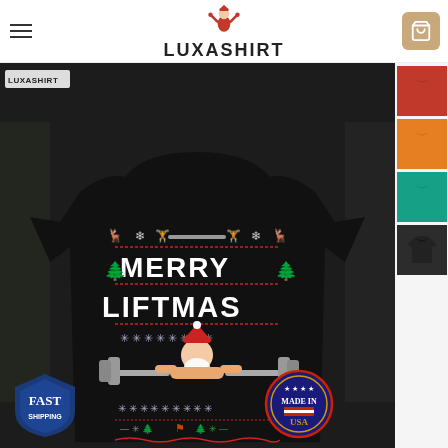LUXASHIRT
[Figure (photo): E-commerce product page showing a black t-shirt with 'Merry Liftmas' ugly Christmas sweater design featuring Santa lifting barbells, Christmas trees, snowflakes, and reindeer. Product image is large center. Right sidebar shows 4 color variants of the shirt (red, orange, teal, dark). Bottom left has a Fast Shipping badge, bottom right has a Made in USA badge. Header has LUXASHIRT logo with muscle/flexing icon and hamburger menu on left and cart button on right.]